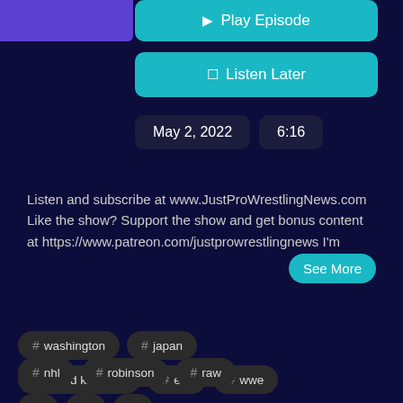[Figure (screenshot): Blue/purple button strip at top left (partially visible)]
▶ Play Episode
☐ Listen Later
May 2, 2022
6:16
Listen and subscribe at www.JustProWrestlingNews.com Like the show? Support the show and get bonus content at https://www.patreon.com/justprowrestlingnews I'm
See More
# washington
# japan
# united kingdom
# evil
# wwe
# nhl
# robinson
# raw